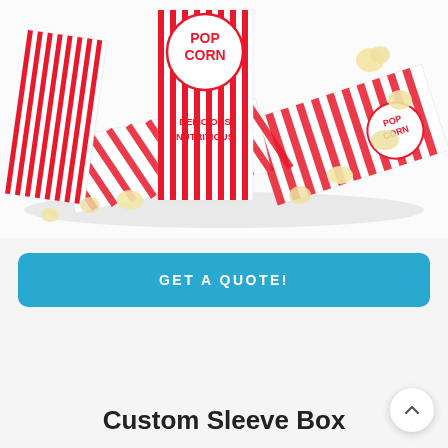[Figure (photo): Photo of classic red and white striped popcorn boxes arranged on a white surface with scattered popcorn pieces. Boxes display 'POPCORN' and 'DELICIOUS NUTRITIOUS' text in red.]
GET A QUOTE!
Custom Sleeve Box